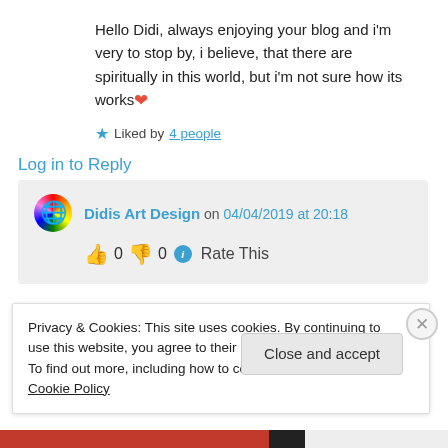Hello Didi, always enjoying your blog and i'm very to stop by, i believe, that there are spiritually in this world, but i'm not sure how its works ❤
★ Liked by 4 people
Log in to Reply
Didis Art Design on 04/04/2019 at 20:18
👍 0 👎 0 ℹ Rate This
Privacy & Cookies: This site uses cookies. By continuing to use this website, you agree to their use.
To find out more, including how to control cookies, see here: Cookie Policy